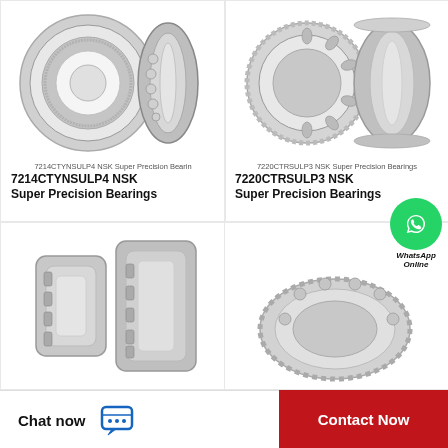[Figure (photo): 7214CTYNSULP4 NSK Super Precision Bearing – ball bearing photo showing two views]
7214CTYNSULP4 NSK Super Precision Bearin
7214CTYNSULP4 NSK Super Precision Bearings
[Figure (photo): 7220CTRSULP3 NSK Super Precision Bearing – roller bearing photo showing two rings]
7220CTRSULP3 NSK Super Precision Bearings
7220CTRSULP3 NSK Super Precision Bearings
[Figure (photo): NSK bearing – partial view of cylindrical roller bearings]
[Figure (photo): NSK bearing – partial view of ball bearing]
Chat now
Contact Now